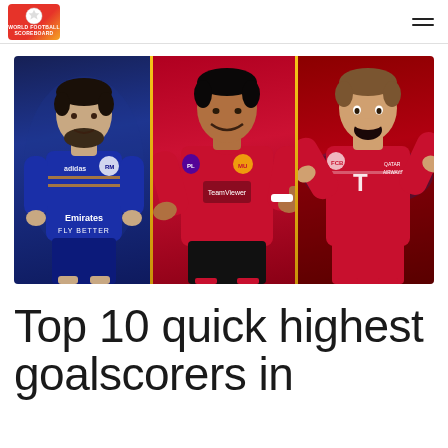World Football Scoreboard
[Figure (photo): Three football players side by side separated by gold dividers: left player in Real Madrid blue Emirates Fly Better jersey (Benzema), center player in red Manchester United jersey (Ronaldo), right player in red Bayern Munich jersey (Lewandowski)]
Top 10 quick highest goalscorers in